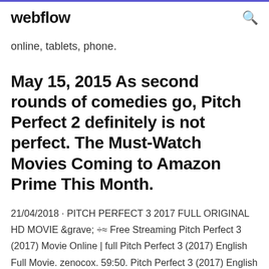webflow
online, tablets, phone.
May 15, 2015 As second rounds of comedies go, Pitch Perfect 2 definitely is not perfect. The Must-Watch Movies Coming to Amazon Prime This Month.
21/04/2018 · PITCH PERFECT 3 2017 FULL ORIGINAL HD MOVIE &grave; ÷≈ Free Streaming Pitch Perfect 3 (2017) Movie Online | full Pitch Perfect 3 (2017) English Full Movie. zenocox. 59:50. Pitch Perfect 3 (2017) English Full Movie. kitty1. 1:10. Pitch Perfect 2 (2015) Full Movie